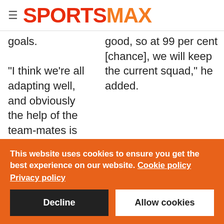SPORTSMAX
goals.
"I think we're all adapting well, and obviously the help of the team-mates is really important."
good, so at 99 per cent [chance], we will keep the current squad," he added.
This website uses cookies to ensure you get the best experience on our website. Cookie policy
Privacy policy
Decline
Allow cookies